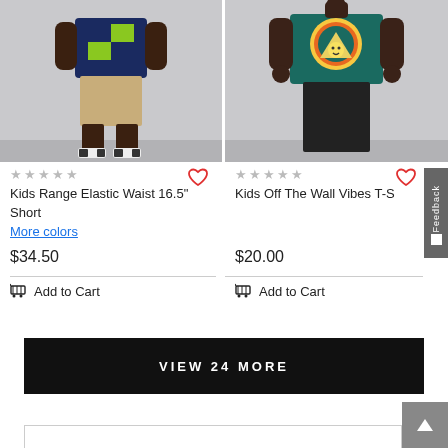[Figure (photo): Child wearing dark navy t-shirt with checkered graphic and khaki shorts, standing on gray background, wearing Vans sneakers]
[Figure (photo): Child wearing teal t-shirt with Off The Wall Vibes camping/mountain graphic, wearing black pants, standing on gray background]
Kids Range Elastic Waist 16.5" Short
More colors
$34.50
Add to Cart
Kids Off The Wall Vibes T-S
$20.00
Add to Cart
VIEW 24 MORE